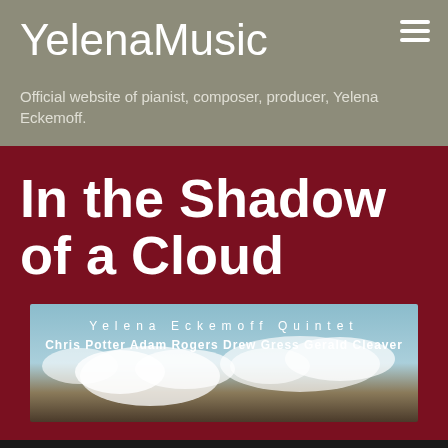YelenaMusic
Official website of pianist, composer, producer, Yelena Eckemoff.
In the Shadow of a Cloud
[Figure (illustration): Album cover for 'In the Shadow of a Cloud' by Yelena Eckemoff Quintet featuring Chris Potter, Adam Rogers, Drew Gress, Gerald Cleaver. Sky with clouds background.]
Yelena Eckemoff Quintet
Chris Potter  Adam Rogers  Drew Gress  Gerald Cleaver